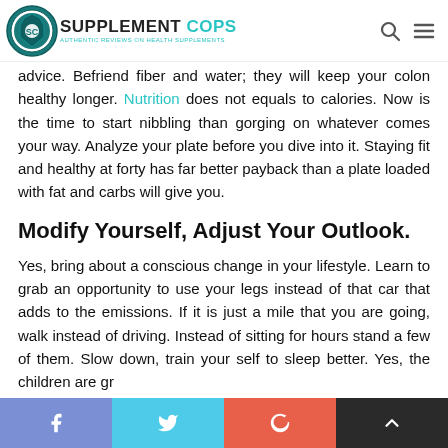SUPPLEMENT COPS — Authentic Reviews on Health Supplements
advice. Befriend fiber and water; they will keep your colon healthy longer. Nutrition does not equals to calories. Now is the time to start nibbling than gorging on whatever comes your way. Analyze your plate before you dive into it. Staying fit and healthy at forty has far better payback than a plate loaded with fat and carbs will give you.
Modify Yourself, Adjust Your Outlook.
Yes, bring about a conscious change in your lifestyle. Learn to grab an opportunity to use your legs instead of that car that adds to the emissions. If it is just a mile that you are going, walk instead of driving. Instead of sitting for hours stand a few of them. Slow down, train your self to sleep better. Yes, the children are gr…
Facebook | Twitter | Google+ | Back to top